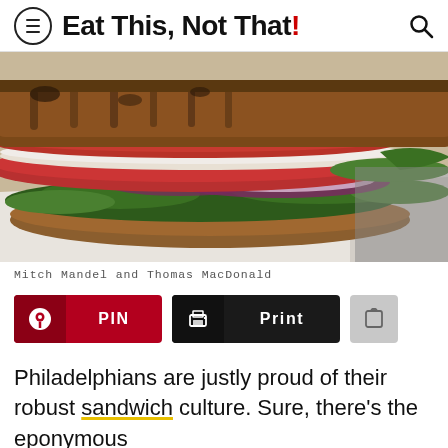Eat This, Not That!
[Figure (photo): Close-up photo of a large layered sandwich with grilled bread, deli meat, tomatoes, red onion rings, and leafy greens on white paper]
Mitch Mandel and Thomas MacDonald
PIN  Print  [share button]
Philadelphians are justly proud of their robust sandwich culture. Sure, there's the eponymous